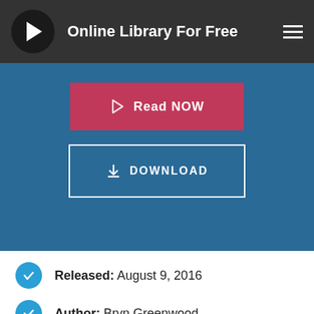Online Library For Free
[Figure (screenshot): Read NOW button (pink/red background with play icon) and DOWNLOAD button (outlined, blue background) on a blue section background]
Released: August 9, 2016
Author: Bryn Greenwood
Rating: 4,4